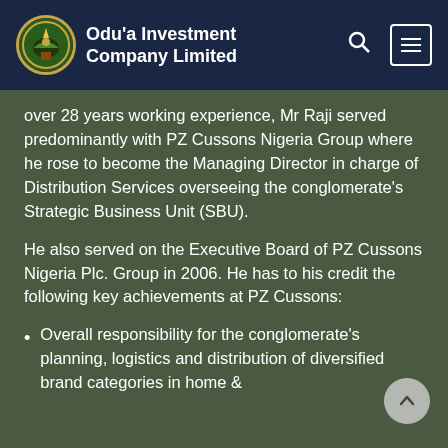Odu'a Investment Company Limited
over 28 years working experience, Mr Raji served predominantly with PZ Cussons Nigeria Group where he rose to become the Managing Director in charge of Distribution Services overseeing the conglomerate's Strategic Business Unit (SBU).
He also served on the Executive Board of PZ Cussons Nigeria Plc. Group in 2006. He has to his credit the following key achievements at PZ Cussons:
Overall responsibility for the conglomerate's planning, logistics and distribution of diversified brand categories in home &